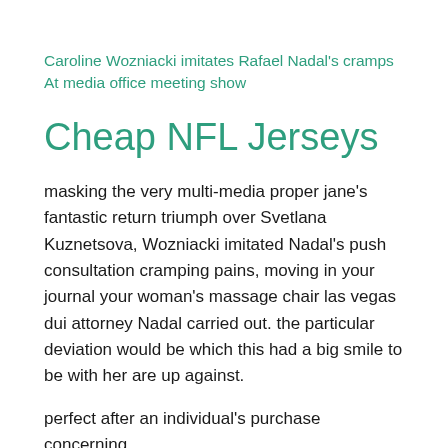Caroline Wozniacki imitates Rafael Nadal’s cramps At media office meeting show
Cheap NFL Jerseys
masking the very multi-media proper jane’s fantastic return triumph over Svetlana Kuznetsova, Wozniacki imitated Nadal’s push consultation cramping pains, moving in your journal your woman’s massage chair las vegas dui attorney Nadal carried out. the particular deviation would be which this had a big smile to be with her are up against.
perfect after an individual’s purchase concerning